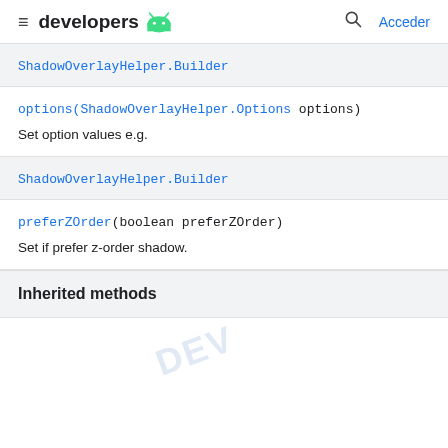developers [android] | Acceder
ShadowOverlayHelper.Builder
options(ShadowOverlayHelper.Options options)
Set option values e.g.
ShadowOverlayHelper.Builder
preferZOrder(boolean preferZOrder)
Set if prefer z-order shadow.
Inherited methods